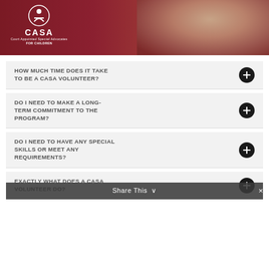[Figure (photo): CASA (Court Appointed Special Advocates for Children) banner with logo on dark red background and a child's face partially visible]
HOW MUCH TIME DOES IT TAKE TO BE A CASA VOLUNTEER?
DO I NEED TO MAKE A LONG-TERM COMMITMENT TO THE PROGRAM?
DO I NEED TO HAVE ANY SPECIAL SKILLS OR MEET ANY REQUIREMENTS?
EXACTLY WHAT DOES A CASA VOLUNTEER DO?
Share This ∨  ✕